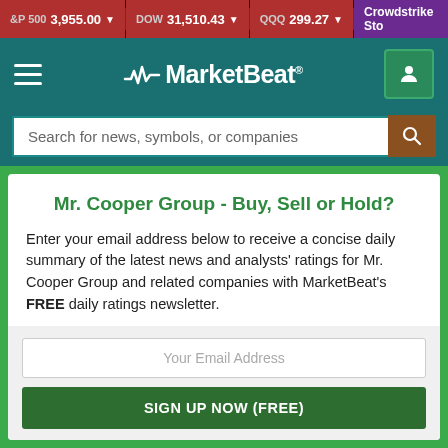&P 500  3,955.00  ▼   DOW  31,510.43  ▼   QQQ  299.27  ▼   Crowdstrike Sto
[Figure (logo): MarketBeat logo with hamburger menu and user icon on teal navigation bar]
Search for news, symbols, or companies
Mr. Cooper Group - Buy, Sell or Hold?
Enter your email address below to receive a concise daily summary of the latest news and analysts' ratings for Mr. Cooper Group and related companies with MarketBeat's FREE daily ratings newsletter.
Your Email Address
SIGN UP NOW (FREE)
or
Sign up with Google